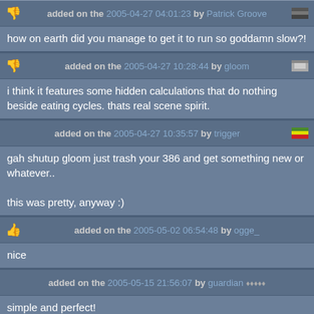added on the 2005-04-27 04:01:23 by Patrick Groove
how on earth did you manage to get it to run so goddamn slow?!
added on the 2005-04-27 10:28:44 by gloom
i think it features some hidden calculations that do nothing beside eating cycles. thats real scene spirit.
added on the 2005-04-27 10:35:57 by trigger
gah shutup gloom just trash your 386 and get something new or whatever..

this was pretty, anyway :)
added on the 2005-05-02 06:54:48 by ogge_
nice
added on the 2005-05-15 21:56:07 by guardian
simple and perfect!
music saved into my 'fav_scenemusic' folder :)
added on the 2005-06-09 15:26:19 by AbcuGl